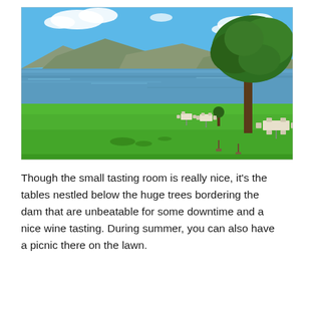[Figure (photo): Outdoor photo of a winery or estate with green lawn in the foreground, a lake or dam in the middle, hills and blue sky with clouds in the background, a large tree on the right, and outdoor tables and chairs arranged beneath the tree near the waterfront.]
Though the small tasting room is really nice, it's the tables nestled below the huge trees bordering the dam that are unbeatable for some downtime and a nice wine tasting. During summer, you can also have a picnic there on the lawn.